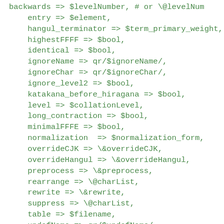backwards => $levelNumber, # or \@levelNum
    entry => $element,
    hangul_terminator => $term_primary_weight,
    highestFFFF => $bool,
    identical => $bool,
    ignoreName => qr/$ignoreName/,
    ignoreChar => qr/$ignoreChar/,
    ignore_level2 => $bool,
    katakana_before_hiragana => $bool,
    level => $collationLevel,
    long_contraction => $bool,
    minimalFFFE => $bool,
    normalization  => $normalization_form,
    overrideCJK => \&overrideCJK,
    overrideHangul => \&overrideHangul,
    preprocess => \&preprocess,
    rearrange => \@charList,
    rewrite => \&rewrite,
    suppress => \@charList,
    table => $filename,
    undefName => qr/$undefName/,
    undefChar => qr/$undefChar/,
    upper_before_lower => $bool,